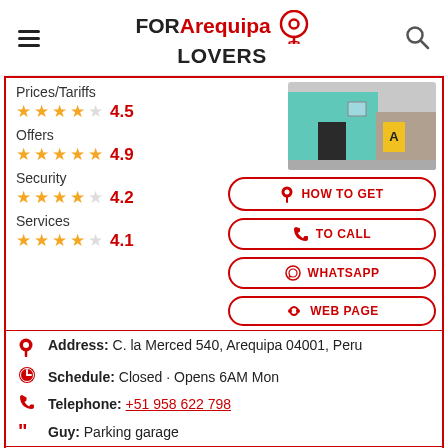FOR Arequipa LOVERS
Prices/Tariffs 4.5
Offers 4.9
Security 4.2
Services 4.1
[Figure (photo): Exterior photo of a building with teal/blue painted wall and a yellow sign]
HOW TO GET
TO CALL
WHATSAPP
WEB PAGE
Address: C. la Merced 540, Arequipa 04001, Peru
Schedule: Closed · Opens 6AM Mon
Telephone: +51 958 622 798
Guy: Parking garage
Web page: http://...